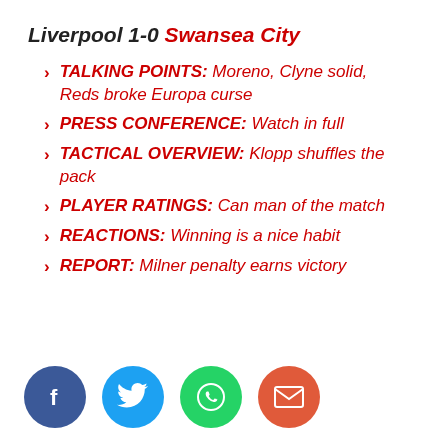Liverpool 1-0 Swansea City
TALKING POINTS: Moreno, Clyne solid, Reds broke Europa curse
PRESS CONFERENCE: Watch in full
TACTICAL OVERVIEW: Klopp shuffles the pack
PLAYER RATINGS: Can man of the match
REACTIONS: Winning is a nice habit
REPORT: Milner penalty earns victory
[Figure (infographic): Social sharing buttons: Facebook (blue), Twitter (light blue), WhatsApp (green), Email (red-orange)]